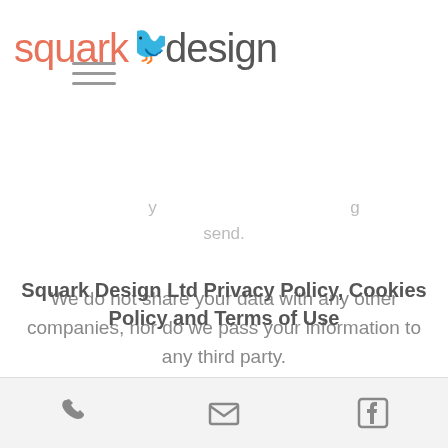[Figure (logo): Squark Design logo with bird illustration between 'squark' and 'design' text]
[Figure (other): Hamburger menu icon (three horizontal lines)]
[Figure (other): Shopping cart icon with '0' badge and partial navigation text: 'ing', 'ducts', 'ers,', 'ot out', 'may']
y ... g send.
We do not share your data with any other companies, nor do we pass your information to any third party.
If you would like further information or if you have a query or concern regarding our privacy policy please do not hesitate to email us at info@squarkdesign.co.uk.
Squark Design Ltd Privacy Policy, Cookies Policy and Terms of Use
Phone | Email | Facebook icons